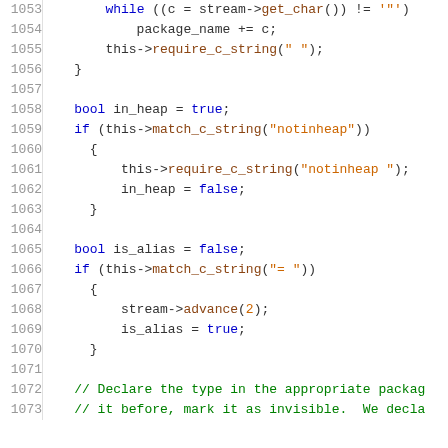[Figure (screenshot): Source code listing in a monospace font showing C++ code lines 1053–1073, with syntax highlighting: keywords in blue, string literals in orange, comments in green, and identifiers in dark/default color. Line numbers are shown in grey on the left separated by a vertical line.]